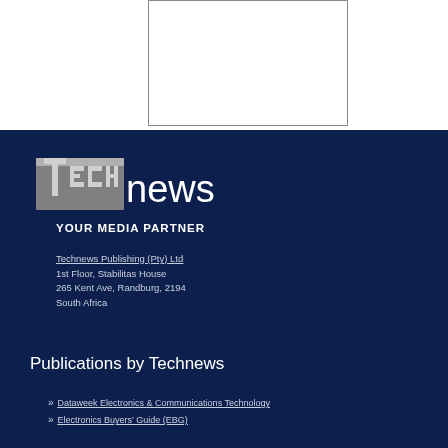[Figure (other): White rectangular image placeholder with border]
[Figure (logo): TECHnews logo in white and grey on dark navy background]
YOUR MEDIA PARTNER
Technews Publishing (Pty) Ltd
1st Floor, Stabilitas House
265 Kent Ave, Randburg, 2194
South Africa
Publications by Technews
Dataweek Electronics & Communications Technology
Electronics Buyers' Guide (EBG)